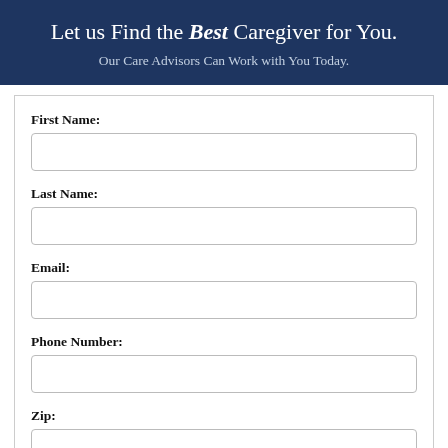Let us Find the Best Caregiver for You.
Our Care Advisors Can Work with You Today.
First Name:
Last Name:
Email:
Phone Number:
Zip: